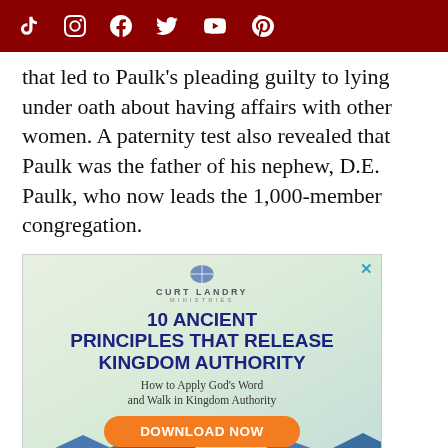Social media icons: TikTok, Instagram, Facebook, Twitter, YouTube, Pinterest
that led to Paulk's pleading guilty to lying under oath about having affairs with other women. A paternity test also revealed that Paulk was the father of his nephew, D.E. Paulk, who now leads the 1,000-member congregation.
[Figure (infographic): Advertisement for Curt Landry Ministries: '10 Ancient Principles That Release Kingdom Authority - How to Apply God's Word and Walk in Kingdom Authority' with a Download Now button and mountain landscape.]